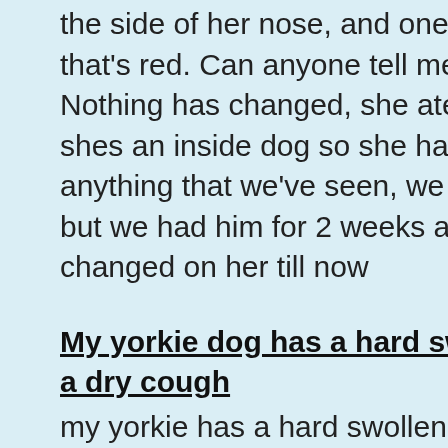the side of her nose, and one on her mouth that's red. Can anyone tell me what these Nothing has changed, she ate the same fo shes an inside dog so she hasnt got into anything that we've seen, we do have a kit but we had him for 2 weeks and nothings changed on her till now
My yorkie dog has a hard swollen abdomen a dry cough
my yorkie has a hard swollen abdomen an dry cough. He is moving slowly and seems uncomfortable
What does it mean when my dog suddenly mobility in his back legs?
My dog is not able to walk because of his legs suddenly stopped working so he is it